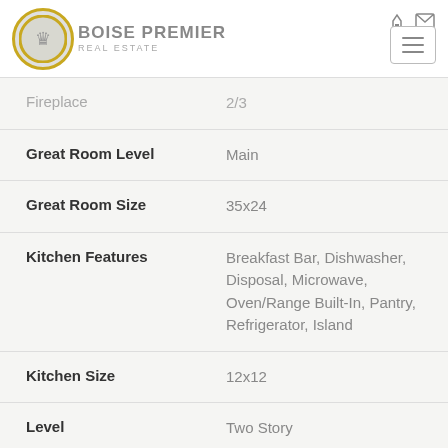Boise Premier Real Estate
| Property Feature | Value |
| --- | --- |
| Fireplace | 2/3 |
| Great Room Level | Main |
| Great Room Size | 35x24 |
| Kitchen Features | Breakfast Bar, Dishwasher, Disposal, Microwave, Oven/Range Built-In, Pantry, Refrigerator, Island |
| Kitchen Size | 12x12 |
| Level | Two Story |
| Main Level Baths | 2.5 |